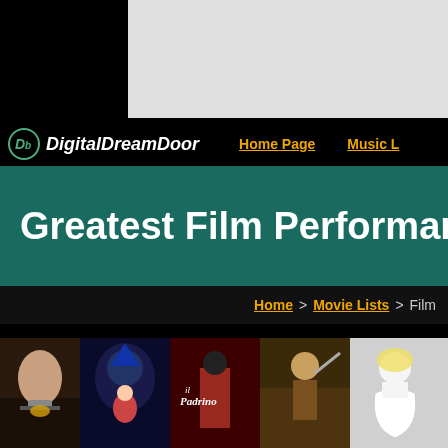[Figure (other): Advertisement banner placeholder (gray rectangle)]
DigitalDreamDoor | Home Page | Music L...
Greatest Film Performance
Home > Movie Lists > Film...
[Figure (photo): Strip of movie poster images including The Silence of the Lambs, animated film, Il Padrino (The Godfather), action film, Marilyn Monroe film, The Rocky Horror Picture Show, and others]